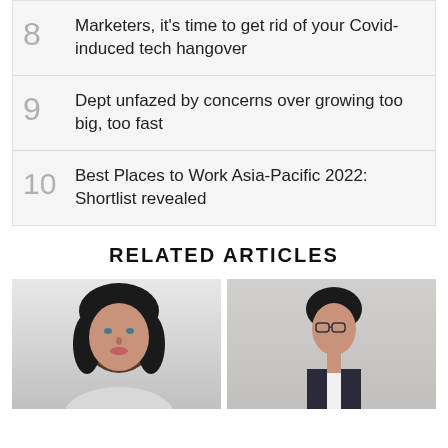8  Marketers, it's time to get rid of your Covid-induced tech hangover
9  Dept unfazed by concerns over growing too big, too fast
10  Best Places to Work Asia-Pacific 2022: Shortlist revealed
RELATED ARTICLES
[Figure (photo): Headshot of a woman with dark hair against a light background]
[Figure (photo): Woman with dark hair, glasses, wearing a dark vest over white shirt, standing in front of a concrete wall]